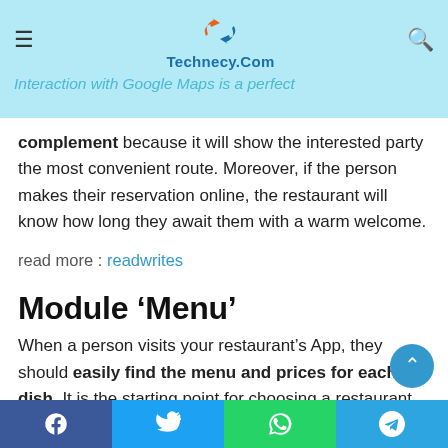Technecy.Com — Interaction with Google Maps is a perfect
complement because it will show the interested party the most convenient route. Moreover, if the person makes their reservation online, the restaurant will know how long they await them with a warm welcome.
read more : readwrites
Module ‘Menu’
When a person visits your restaurant’s App, they should easily find the menu and prices for each dish. It is the starting point for choosing a restaurant, essential for online orders,
Facebook | Twitter | WhatsApp | Telegram